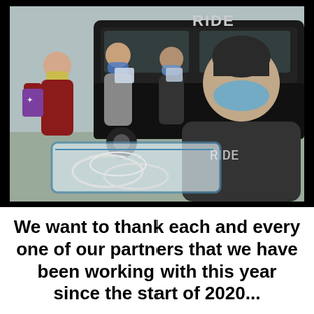[Figure (photo): Four people wearing face masks standing outside near a black van labeled RIDE. A man in the foreground wearing a RIDE jacket and blue mask holds a large clear bag of plastic tubing. Three women in the background hold bags and items. A purple bag with a cross logo is visible.]
We want to thank each and every one of our partners that we have been working with this year since the start of 2020...